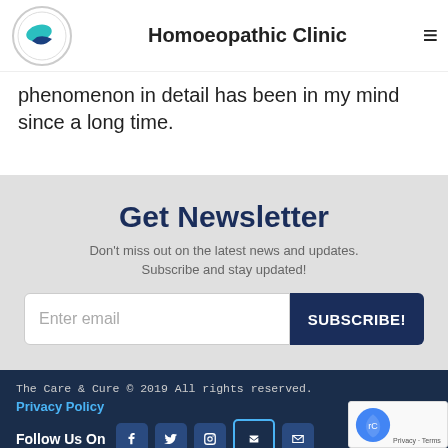Homoeopathic Clinic
phenomenon in detail has been in my mind since a long time.
Get Newsletter
Don't miss out on the latest news and updates. Subscribe and stay updated!
Enter email | SUBSCRIBE!
The Care & Cure © 2019 All rights reserved.
Privacy Policy
Follow Us On